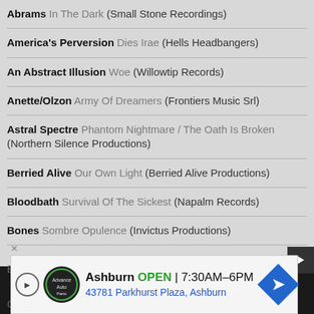Abrams In The Dark (Small Stone Recordings)
America's Perversion Dies Irae (Hells Headbangers)
An Abstract Illusion Woe (Willowtip Records)
Anette/Olzon Army Of Dreamers (Frontiers Music Srl)
Astral Spectre Phantom Nightmare / The Oath Is Broken (Northern Silence Productions)
Berried Alive Our Own Light (Berried Alive Productions)
Bloodbath Survival Of The Sickest (Napalm Records)
Bones Sombre Opulence (Invictus Productions)
Burnin...
Cripple...